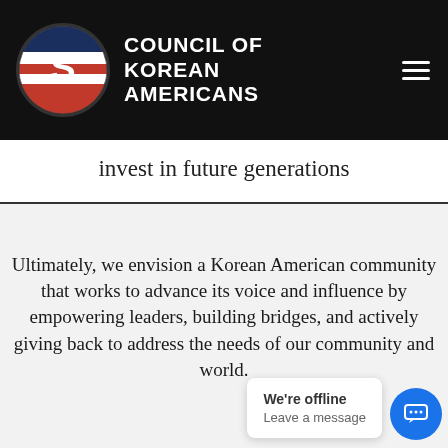COUNCIL OF KOREAN AMERICANS
invest in future generations
Ultimately, we envision a Korean American community that works to advance its voice and influence by empowering leaders, building bridges, and actively giving back to address the needs of our community and world.
We're offline
Leave a message